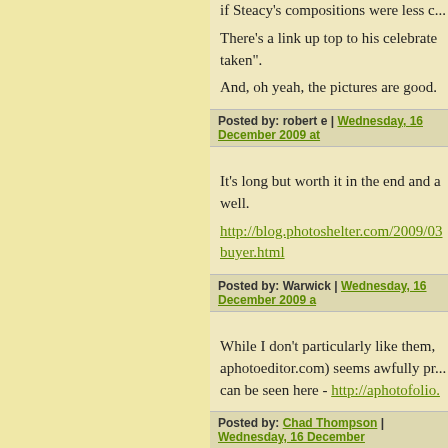if Steacy's compositions were less c...
There's a link up top to his celebrate... taken".
And, oh yeah, the pictures are good.
Posted by: robert e | Wednesday, 16 December 2009 at...
It's long but worth it in the end and a... well.
http://blog.photoshelter.com/2009/03...buyer.html
Posted by: Warwick | Wednesday, 16 December 2009 a...
While I don't particularly like them, aphotoeditor.com) seems awfully pro... can be seen here - http://aphotofolio.
Posted by: Chad Thompson | Wednesday, 16 December...